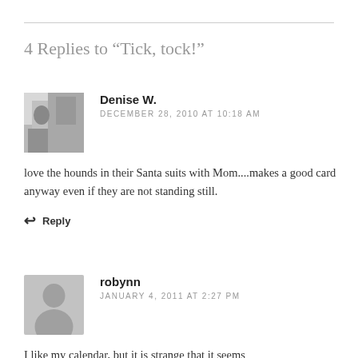4 Replies to “Tick, tock!”
[Figure (photo): Black and white photo of a person standing outside a house]
Denise W.
DECEMBER 28, 2010 AT 10:18 AM
love the hounds in their Santa suits with Mom....makes a good card anyway even if they are not standing still.
Reply
[Figure (illustration): Gray placeholder avatar silhouette]
robynn
JANUARY 4, 2011 AT 2:27 PM
I like my calendar, but it is strange that it seems